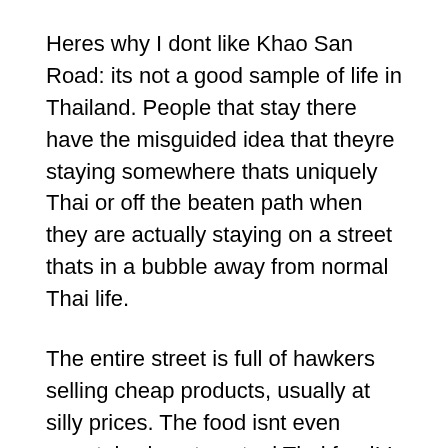Heres why I dont like Khao San Road: its not a good sample of life in Thailand. People that stay there have the misguided idea that theyre staying somewhere thats uniquely Thai or off the beaten path when they are actually staying on a street thats in a bubble away from normal Thai life.
The entire street is full of hawkers selling cheap products, usually at silly prices. The food isnt even remotely close to actual Thai food! I bought Pad Thai on Khao San Road and it was just cheap instant ramen noodles with sauce, while people that stay there rave about how authentic it is. Its the same story for other Thai dishes there Western Thai food thats watered down and poorly made, all sold to people that arent aware.